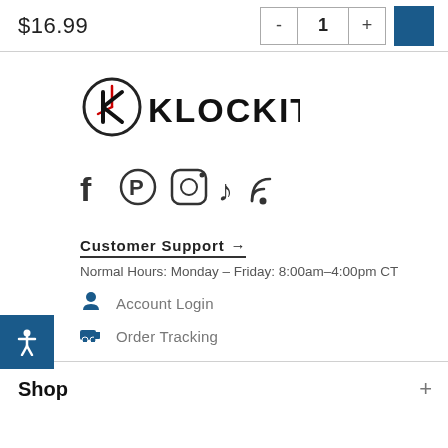$16.99
[Figure (screenshot): Quantity selector with minus button, '1', and plus button, followed by a blue cart button]
[Figure (logo): Klockit logo with stylized K inside a circle and 'KLOCKIT' text]
[Figure (infographic): Social media icons: Facebook, Pinterest, Instagram, TikTok, RSS]
[Figure (infographic): Blue accessibility icon button on left edge]
Customer Support →
Normal Hours: Monday – Friday: 8:00am–4:00pm CT
Account Login
Order Tracking
Shop